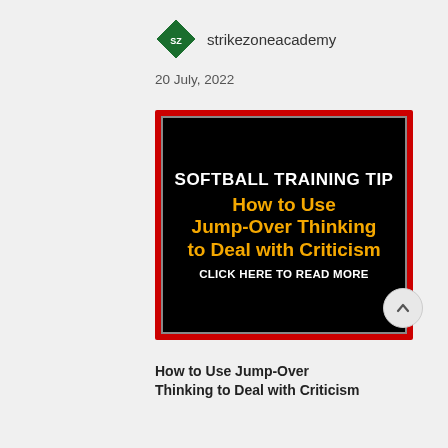strikezoneacademy
20 July, 2022
[Figure (illustration): Softball Training Tip banner image with red border and black background. Text reads: SOFTBALL TRAINING TIP / How to Use Jump-Over Thinking to Deal with Criticism / CLICK HERE TO READ MORE]
How to Use Jump-Over Thinking to Deal with Criticism